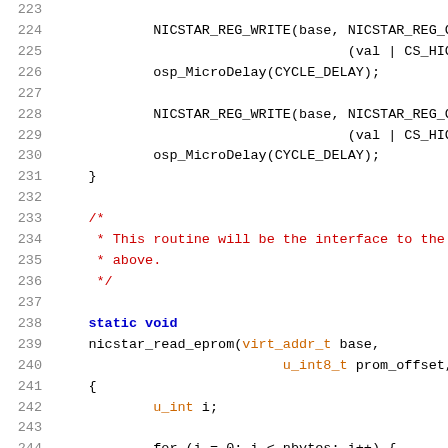[Figure (screenshot): Source code listing showing lines 223-244 of a C program involving NICSTAR register writes, microdelay calls, and a nicstar_read_eprom function definition. Syntax highlighted with line numbers in gray, keywords in blue, comments in red, and type names in orange.]